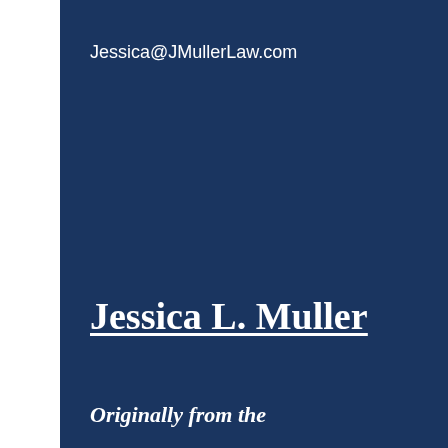Jessica@JMullerLaw.com
Jessica L. Muller
Originally from the